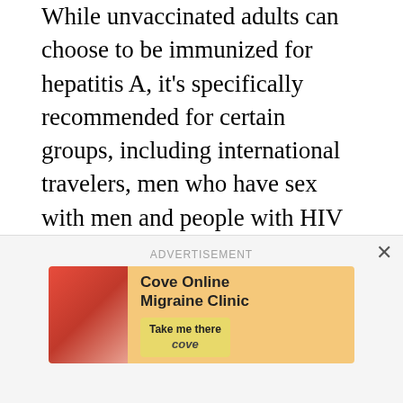While unvaccinated adults can choose to be immunized for hepatitis A, it's specifically recommended for certain groups, including international travelers, men who have sex with men and people with HIV or chronic liver disease, among others. Speak with a healthcare provider (HCP) to find out if the vaccine is right for you.
Unlike the two other forms of hepatitis, hepatitis A doesn't cause chronic disease. The virus usually clears in several weeks or a few months without treatment; it's rarely deadly. In less than 1 percent of cases, people with hepatitis A develop fulminant
[Figure (other): Advertisement overlay for Cove Online Migraine Clinic with orange background, decorative image on left, clinic name and 'Take me there' button on right. Labeled 'ADVERTISEMENT' at top with close (×) button.]